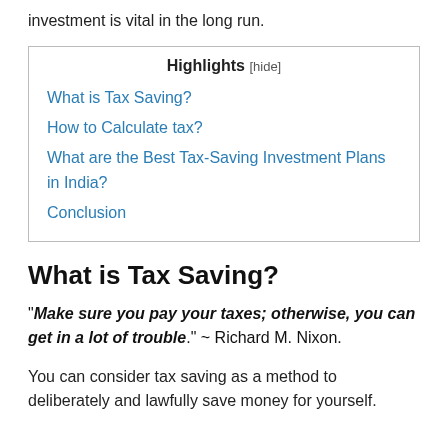investment is vital in the long run.
Highlights [hide]
What is Tax Saving?
How to Calculate tax?
What are the Best Tax-Saving Investment Plans in India?
Conclusion
What is Tax Saving?
"Make sure you pay your taxes; otherwise, you can get in a lot of trouble." ~ Richard M. Nixon.
You can consider tax saving as a method to deliberately and lawfully save money for yourself.